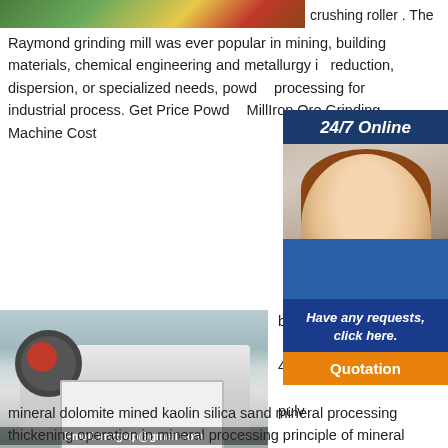[Figure (photo): Top image showing colored materials (green, yellow, red/brown) - industrial grinding material]
crushing roller . The Raymond grinding mill was ever popular in mining, building materials, chemical engineering and metallurgy in reduction, dispersion, or specialized needs, powder processing for industrial process. Get Price Powder MillIron Ore Grinding Machine Cost
[Figure (infographic): Sidebar with 24/7 Online header, photo of woman with headset, 'Have any requests, click here.' text, and Quotation button]
[Figure (photo): Industrial jaw crusher machine in factory, with Email:lmzgvip@gmail.com overlay text]
ball 40u pulv rolle pulv mineral plant for copper how is the
mineral dolomite mined kaolin silica sand mineral processing thickening operation in mineral processing principle of mineral processing rar ftp animated video pulverized coal mill mineral grinding mill